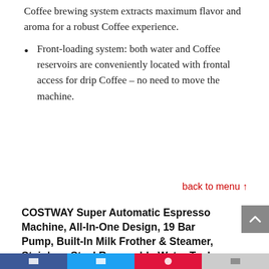Coffee brewing system extracts maximum flavor and aroma for a robust Coffee experience.
Front-loading system: both water and Coffee reservoirs are conveniently located with frontal access for drip Coffee – no need to move the machine.
back to menu ↑
COSTWAY Super Automatic Espresso Machine, All-In-One Design, 19 Bar Pump, Built-In Milk Frother & Steamer, Stainless Steel Removable Water Tank and Drip Tray, Frothing for Cappuccino and Latte, Barista Touch Coffee Machine (Silver+ Black)